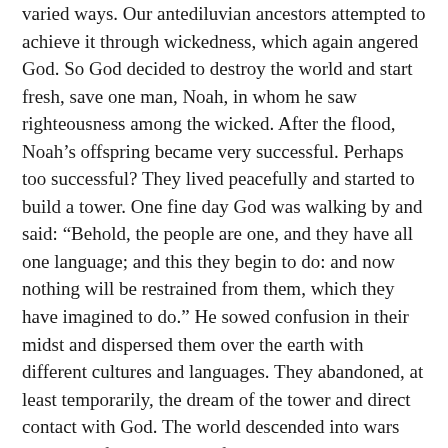varied ways. Our antediluvian ancestors attempted to achieve it through wickedness, which again angered God. So God decided to destroy the world and start fresh, save one man, Noah, in whom he saw righteousness among the wicked. After the flood, Noah's offspring became very successful. Perhaps too successful? They lived peacefully and started to build a tower. One fine day God was walking by and said: “Behold, the people are one, and they have all one language; and this they begin to do: and now nothing will be restrained from them, which they have imagined to do.” He sowed confusion in their midst and dispersed them over the earth with different cultures and languages. They abandoned, at least temporarily, the dream of the tower and direct contact with God. The world descended into wars and chaos for thousands of years, and great civilizations rose and fell. Oppression, slavery, massacres, disease, epidemics, and misery were the rule. A few lived in comfort and luxury using trickery and deception to exploit their subjects and render them powerless. Not until the founding of America did the world experience freedom and